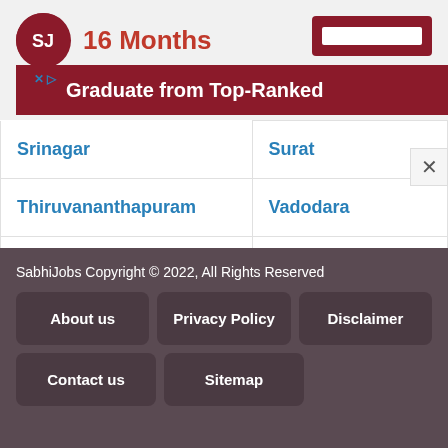[Figure (screenshot): Ad banner showing logo circle, '16 Months' text, a red bar with 'Graduate from Top-Ranked' text, and a dark red button with white stripe]
| Srinagar | Surat |
| Thiruvananthapuram | Vadodara |
| Varanasi | Visakhapatnam |
SabhiJobs Copyright © 2022, All Rights Reserved
About us
Privacy Policy
Disclaimer
Contact us
Sitemap